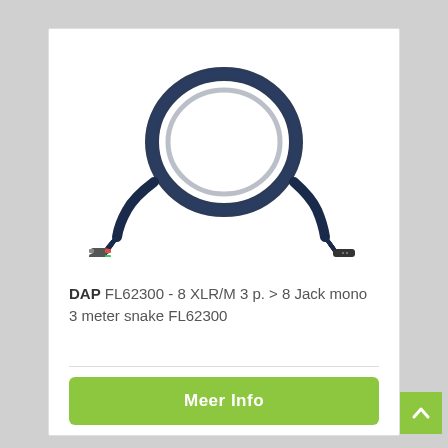[Figure (photo): DAP FL62300 audio snake cable: a dark navy blue multi-cable with 8 colored TRS/mono jack connectors on the left end and 8 XLR male connectors on the right end, coiled in the center.]
DAP FL62300 - 8 XLR/M 3 p. > 8 Jack mono 3 meter snake FL62300
Meer Info